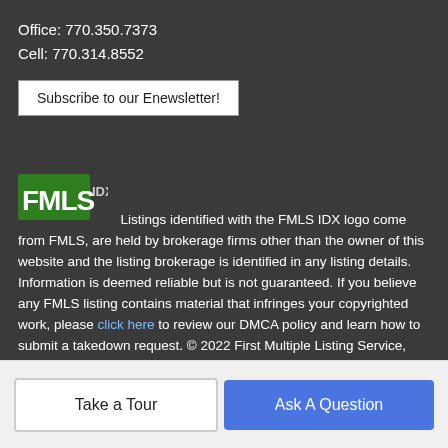Office: 770.350.7373
Cell: 770.314.8552
Subscribe to our Enewsletter!
Listings identified with the FMLS IDX logo come from FMLS, are held by brokerage firms other than the owner of this website and the listing brokerage is identified in any listing details. Information is deemed reliable but is not guaranteed. If you believe any FMLS listing contains material that infringes your copyrighted work, please click here to review our DMCA policy and learn how to submit a takedown request. © 2022 First Multiple Listing Service, Inc. Data last updated 2022-08-30T10:05:30.71. For issues regarding this website, please contact BoomTown.
Take a Tour
Ask A Question